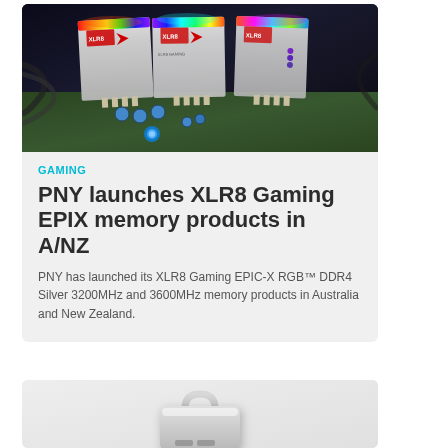[Figure (photo): PNY XLR8 Gaming EPIX RGB DDR4 Silver memory RAM sticks glowing with rainbow RGB lighting on a dark motherboard background]
GAMING
PNY launches XLR8 Gaming EPIX memory products in A/NZ
PNY has launched its XLR8 Gaming EPIC-X RGB™ DDR4 Silver 3200MHz and 3600MHz memory products in Australia and New Zealand.
[Figure (photo): Silver portable SSD or storage device enclosure with handle on top and ports on bottom, white/silver metallic finish]